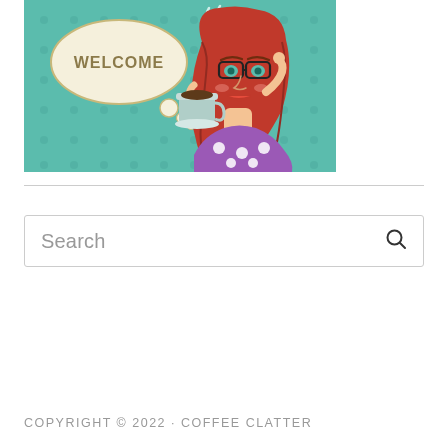[Figure (illustration): Pop-art style illustration of a red-haired woman with glasses holding a coffee cup, with a thought bubble saying 'WELCOME' on a teal polka-dot background]
Search
COPYRIGHT © 2022 · COFFEE CLATTER